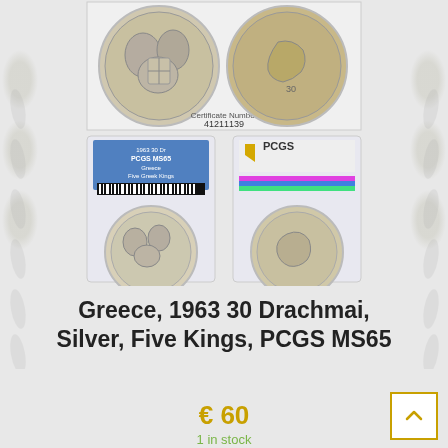[Figure (photo): Two rows of coin photos: top row shows obverse and reverse of a Greek 30 Drachmai silver coin with five kings; bottom row shows the PCGS MS65 graded coin slab (front and back), with blue PCGS label reading '1963, 30 Dr, PCGS MS65, Greece, Five Greek Kings' and a barcode.]
Greece, 1963 30 Drachmai, Silver, Five Kings, PCGS MS65
€ 60
1 in stock